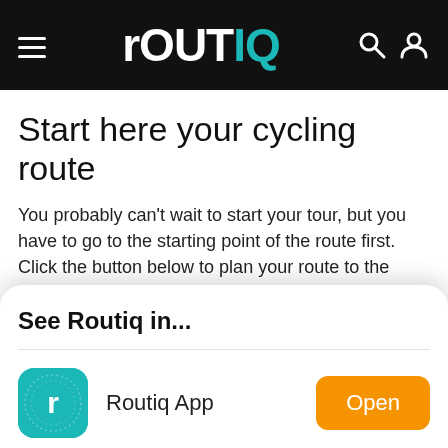routIQ
Start here your cycling route
You probably can't wait to start your tour, but you have to go to the starting point of the route first. Click the button below to plan your route to the starting point
See Routiq in...
Routiq App
Browser